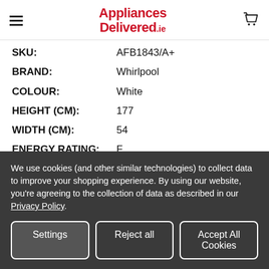Appliances Delivered.ie
SKU: AFB1843/A+
BRAND: Whirlpool
COLOUR: White
HEIGHT (CM): 177
WIDTH (CM): 54
ENERGY RATING: F
FIT TYPE: Integrated
NOW: €799.95  WAS: €999.00
We use cookies (and other similar technologies) to collect data to improve your shopping experience. By using our website, you're agreeing to the collection of data as described in our Privacy Policy.